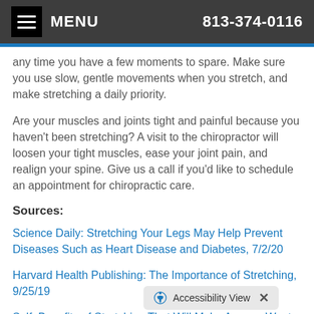MENU  813-374-0116
any time you have a few moments to spare. Make sure you use slow, gentle movements when you stretch, and make stretching a daily priority.
Are your muscles and joints tight and painful because you haven't been stretching? A visit to the chiropractor will loosen your tight muscles, ease your joint pain, and realign your spine. Give us a call if you'd like to schedule an appointment for chiropractic care.
Sources:
Science Daily: Stretching Your Legs May Help Prevent Diseases Such as Heart Disease and Diabetes, 7/2/20
Harvard Health Publishing: The Importance of Stretching, 9/25/19
Self: Benefits of Stretching That Will Make Anyone Want to Move Their Body, 9/25/19
PubMed: Journal of St...g